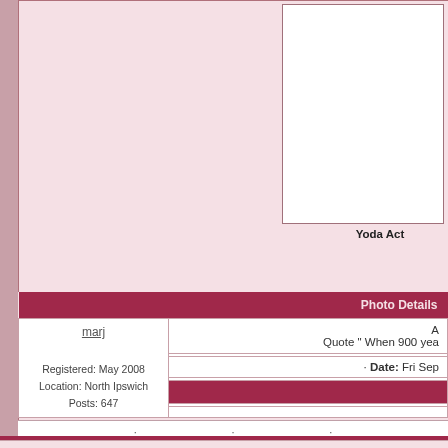[Figure (photo): White image box at top right, appears to be a photo placeholder]
Yoda Act
| Photo Details |
| --- |
| marj
Registered: May 2008
Location: North Ipswich
Posts: 647 | A
Quote " When 900 yea
· Date: Fri Sep
[bar]
[white] |
· · ·